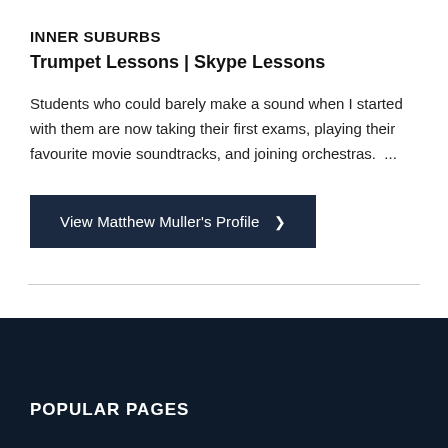INNER SUBURBS
Trumpet Lessons | Skype Lessons
Students who could barely make a sound when I started with them are now taking their first exams, playing their favourite movie soundtracks, and joining orchestras.  ...
View Matthew Muller's Profile ›
POPULAR PAGES